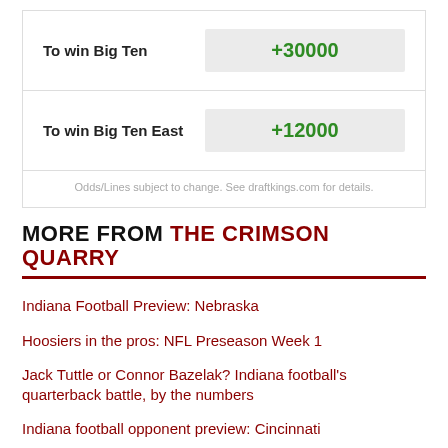|  | Odds |
| --- | --- |
| To win Big Ten | +30000 |
| To win Big Ten East | +12000 |
Odds/Lines subject to change. See draftkings.com for details.
MORE FROM THE CRIMSON QUARRY
Indiana Football Preview: Nebraska
Hoosiers in the pros: NFL Preseason Week 1
Jack Tuttle or Connor Bazelak? Indiana football's quarterback battle, by the numbers
Indiana football opponent preview: Cincinnati
Indiana Athletics announces partnership with Molson Coors Beverage Company
Indiana football opponent preview: Western Kentucky